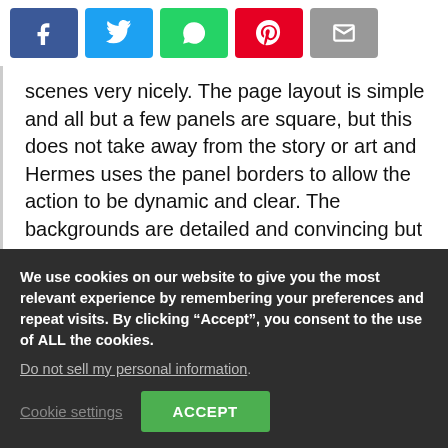[Figure (other): Social sharing buttons: Facebook (blue), Twitter (light blue), WhatsApp (green), Pinterest (red), Email (gray)]
scenes very nicely. The page layout is simple and all but a few panels are square, but this does not take away from the story or art and Hermes uses the panel borders to allow the action to be dynamic and clear. The backgrounds are detailed and convincing but Hermes knows when to use little to no detail at times to help make the characters and action stand out. Hermes has made me a fan of
We use cookies on our website to give you the most relevant experience by remembering your preferences and repeat visits. By clicking “Accept”, you consent to the use of ALL the cookies.
Do not sell my personal information.
Cookie settings ACCEPT